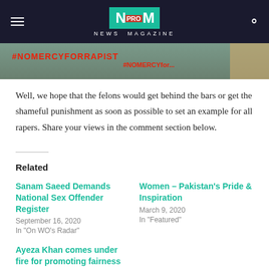NM PRO NEWS MAGAZINE
[Figure (photo): Protest banner with text #NOMERCYFORRAPIST visible in red letters on a white background, with greenery behind]
Well, we hope that the felons would get behind the bars or get the shameful punishment as soon as possible to set an example for all rapers. Share your views in the comment section below.
Related
Sanam Saeed Demands National Sex Offender Register
September 16, 2020
In "On WO's Radar"
Women – Pakistan's Pride & Inspiration
March 9, 2020
In "Featured"
Ayeza Khan comes under fire for promoting fairness cream
October 8, 2020
In "On WO's Radar"